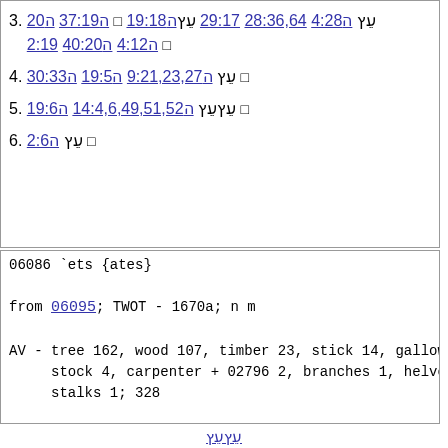3. [Hebrew] 4:28 28:36,64 29:17 [Hebrew] 19:18 [square] 37:19 [Hebrew] 20 2:19 [Hebrew] 4:12 [Hebrew] 40:20 [square]
4. [Hebrew] 9:21,23,27 [Hebrew] 19:5 [Hebrew] 30:33 [square]
5. [Hebrew] 14:4,6,49,51,52 [Hebrew] 19:6 [square]
6. [Hebrew] 2:6 [square]
06086 `ets {ates}

from 06095; TWOT - 1670a; n m

AV - tree 162, wood 107, timber 23, stick 14, gallows 8,
     stock 4, carpenter + 02796 2, branches 1, helve 1,
     stalks 1; 328

1) tree, wood, timber, stock, plank, stalk, stick, gallo...
   1a) tree, trees
   1b) wood, pieces of wood, gallows, firewood, cedar-wo...
[Hebrew characters]